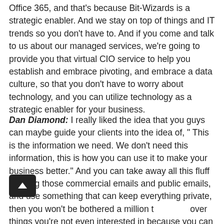Office 365, and that's because Bit-Wizards is a strategic enabler. And we stay on top of things and IT trends so you don't have to. And if you come and talk to us about our managed services, we're going to provide you that virtual CIO service to help you establish and embrace pivoting, and embrace a data culture, so that you don't have to worry about technology, and you can utilize technology as a strategic enabler for your business.
Dan Diamond: I really liked the idea that you guys can maybe guide your clients into the idea of, " This is the information we need. We don't need this information, this is how you can use it to make your business better." And you can take away all this fluff of using those commercial emails and public emails, and use something that can keep everything private, then you won't be bothered a million t[scroll button] over things you're not even interested in because you can get bombarded with all that stuff.